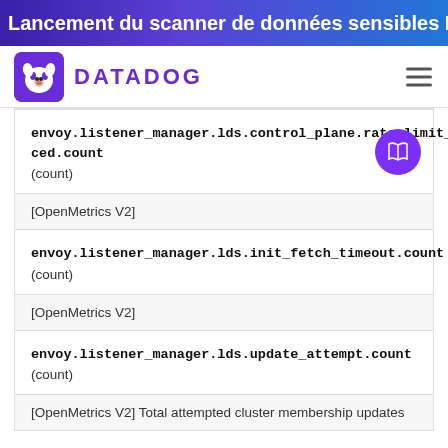Lancement du scanner de données sensibles Datadog
[Figure (logo): Datadog logo with dog icon and DATADOG wordmark in purple]
| Metric | Type/Description |
| --- | --- |
| envoy.listener_manager.lds.control_plane.rate_limit_enforced.count | (count) |
| [OpenMetrics V2] |  |
| envoy.listener_manager.lds.init_fetch_timeout.count | (count) |
| [OpenMetrics V2] |  |
| envoy.listener_manager.lds.update_attempt.count | (count) |
| [OpenMetrics V2] Total attempted cluster membership updates |  |